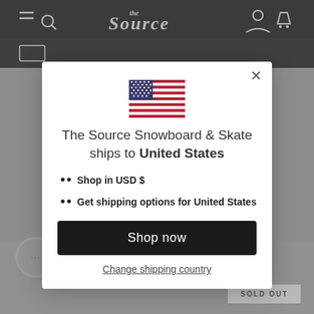[Figure (screenshot): Website background showing 'The Source' snowboard shop header with dark navigation bar and grey background]
[Figure (illustration): US flag emoji/icon centered in modal]
The Source Snowboard & Skate ships to United States
Shop in USD $
Get shipping options for United States
Shop now
Change shipping country